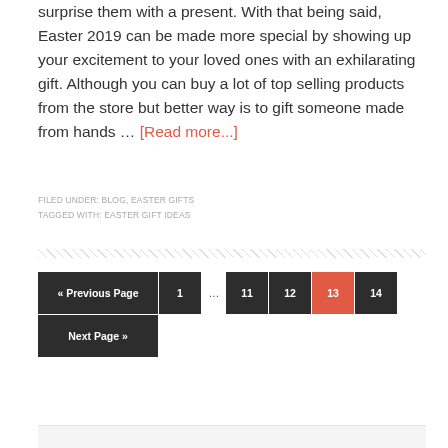surprise them with a present. With that being said, Easter 2019 can be made more special by showing up your excitement to your loved ones with an exhilarating gift. Although you can buy a lot of top selling products from the store but better way is to gift someone made from hands … [Read more...]
FILED UNDER: BLOG, EASTER GIFTS
TAGGED WITH: EASTER GIFT IDEAS
« Previous Page  1  …  11  12  13  14  Next Page »